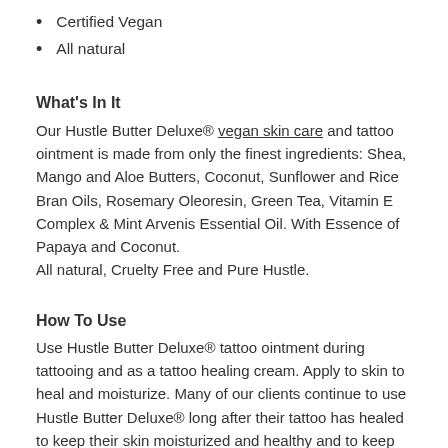Certified Vegan
All natural
What's In It
Our Hustle Butter Deluxe® vegan skin care and tattoo ointment is made from only the finest ingredients: Shea, Mango and Aloe Butters, Coconut, Sunflower and Rice Bran Oils, Rosemary Oleoresin, Green Tea, Vitamin E Complex & Mint Arvenis Essential Oil. With Essence of Papaya and Coconut. All natural, Cruelty Free and Pure Hustle.
How To Use
Use Hustle Butter Deluxe® tattoo ointment during tattooing and as a tattoo healing cream. Apply to skin to heal and moisturize. Many of our clients continue to use Hustle Butter Deluxe® long after their tattoo has healed to keep their skin moisturized and healthy and to keep their tattoo's colours bright.